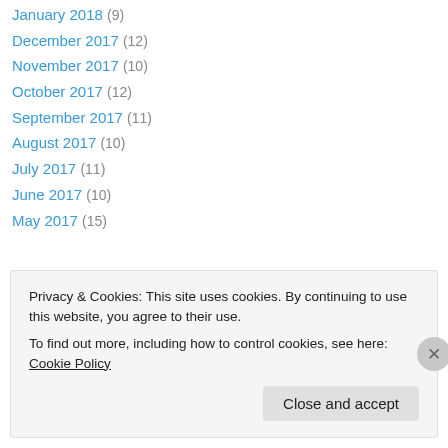January 2018 (9)
December 2017 (12)
November 2017 (10)
October 2017 (12)
September 2017 (11)
August 2017 (10)
July 2017 (11)
June 2017 (10)
May 2017 (15)
April 2017 (15)
March 2017 (19)
February 2017 (18)
January 2017 (18)
December 2016 (14)
Privacy & Cookies: This site uses cookies. By continuing to use this website, you agree to their use.
To find out more, including how to control cookies, see here: Cookie Policy